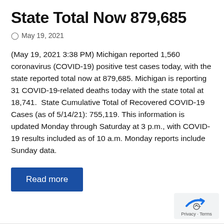State Total Now 879,685
May 19, 2021
(May 19, 2021 3:38 PM) Michigan reported 1,560 coronavirus (COVID-19) positive test cases today, with the state reported total now at 879,685. Michigan is reporting 31 COVID-19-related deaths today with the state total at 18,741.  State Cumulative Total of Recovered COVID-19 Cases (as of 5/14/21): 755,119. This information is updated Monday through Saturday at 3 p.m., with COVID-19 results included as of 10 a.m. Monday reports include Sunday data.
Read more